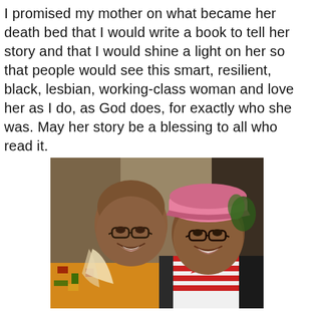I promised my mother on what became her death bed that I would write a book to tell her story and that I would shine a light on her so that people would see this smart, resilient, black, lesbian, working-class woman and love her as I do, as God does, for exactly who she was. May her story be a blessing to all who read it.
[Figure (photo): A selfie photograph of two Black women smiling closely together. The woman on the left has a shaved head and glasses, wearing a colorful African-print top. The woman on the right wears a pink baseball cap and glasses, wearing a red and white striped shirt with a dark cardigan.]